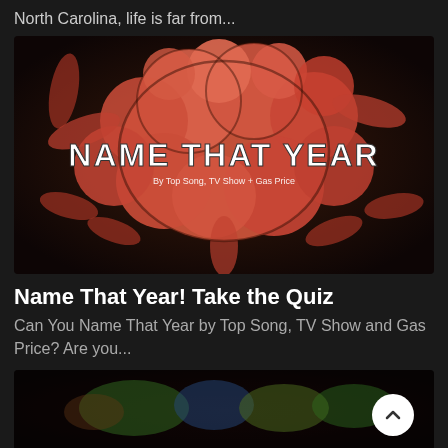North Carolina, life is far from...
[Figure (illustration): Colorful comic-style explosion cloud illustration with white bold text reading 'NAME THAT YEAR' and subtitle 'By Top Song, TV Show + Gas Price']
Name That Year! Take the Quiz
Can You Name That Year by Top Song, TV Show and Gas Price? Are you...
[Figure (screenshot): Partial bottom image with blurred colorful content, dark background, with a white circular scroll-to-top button]